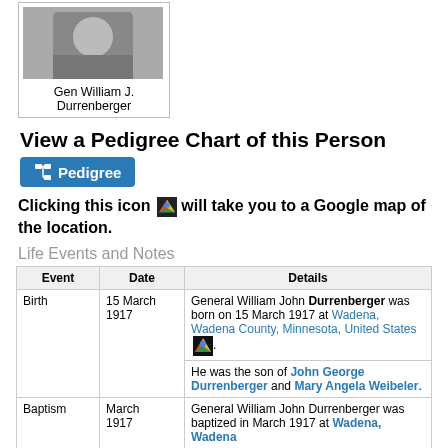[Figure (photo): Black and white photo of Gen William J. Durrenberger]
Gen William J. Durrenberger
View a Pedigree Chart of this Person
[Figure (other): Pedigree button with icon]
Clicking this icon [Google Maps icon] will take you to a Google map of the location.
Life Events and Notes
| Event | Date | Details |
| --- | --- | --- |
| Birth | 15 March 1917 | General William John Durrenberger was born on 15 March 1917 at Wadena, Wadena County, Minnesota, United States. He was the son of John George Durrenberger and Mary Angela Weibeler. |
| Baptism | March 1917 | General William John Durrenberger was baptized in March 1917 at Wadena, Wadena |